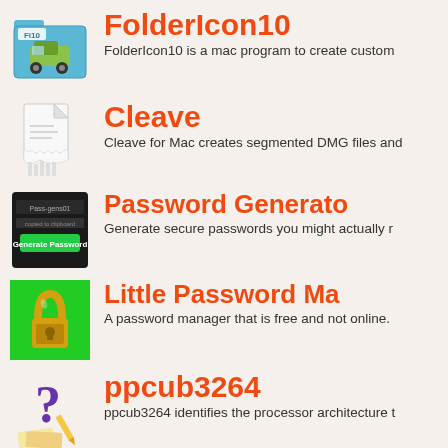[Figure (illustration): FolderIcon10 app icon: a folder with Fi10 label and a jeep/truck on it]
FolderIcon10
FolderIcon10 is a mac program to create custom
[Figure (illustration): Cleave app icon: a document with torn/shredded bottom]
Cleave
Cleave for Mac creates segmented DMG files and
[Figure (illustration): Password Generator app icon: dark terminal/UI screenshot showing Pass-gens01]
Password Generator
Generate secure passwords you might actually r
[Figure (illustration): Little Password Manager app icon: gold padlock on green background]
Little Password Ma
A password manager that is free and not online.
[Figure (illustration): ppcub3264 app icon: purple question mark with papers]
ppcub3264
ppcub3264 identifies the processor architecture t
[Figure (illustration): Tweaker app icon: gear/cog]
Tweaker